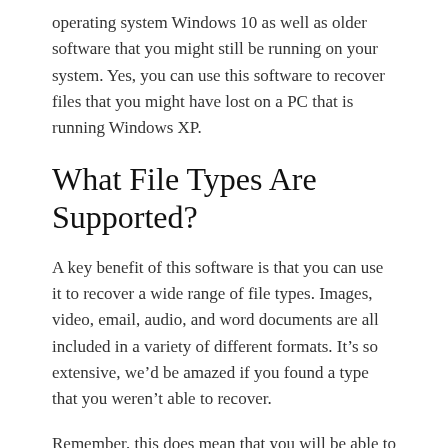operating system Windows 10 as well as older software that you might still be running on your system. Yes, you can use this software to recover files that you might have lost on a PC that is running Windows XP.
What File Types Are Supported?
A key benefit of this software is that you can use it to recover a wide range of file types. Images, video, email, audio, and word documents are all included in a variety of different formats. It’s so extensive, we’d be amazed if you found a type that you weren’t able to recover.
Remember, this does mean that you will be able to